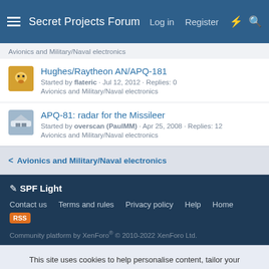Secret Projects Forum  Log in  Register
Avionics and Military/Naval electronics
Hughes/Raytheon AN/APQ-181
Started by flateric · Jul 12, 2012 · Replies: 0
Avionics and Military/Naval electronics
APQ-81: radar for the Missileer
Started by overscan (PaulMM) · Apr 25, 2008 · Replies: 12
Avionics and Military/Naval electronics
< Avionics and Military/Naval electronics
SPF Light
Contact us  Terms and rules  Privacy policy  Help  Home
Community platform by XenForo® © 2010-2022 XenForo Ltd.
This site uses cookies to help personalise content, tailor your experience and to keep you logged in if you register.
By continuing to use this site, you are consenting to our use of cookies.
Accept  Learn more...